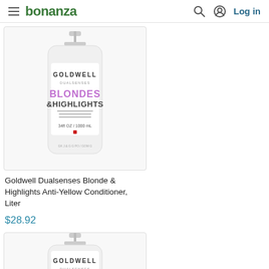bonanza  Log in
[Figure (photo): Goldwell Dualsenses Blondes & Highlights Anti-Yellow Conditioner bottle, 1 liter, white pump bottle with purple and dark text]
Goldwell Dualsenses Blonde & Highlights Anti-Yellow Conditioner, Liter
$28.92
[Figure (photo): Goldwell Dualsenses Rich product, partial view of white pump bottle with gold text showing 'RICH']